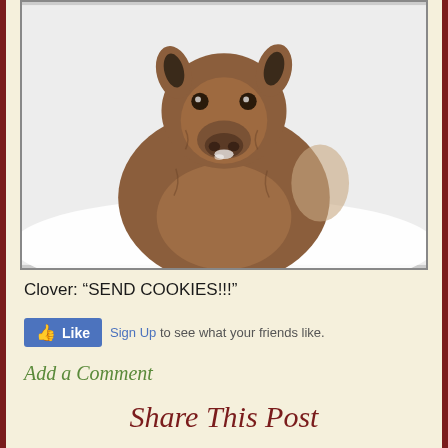[Figure (photo): A brown baby goat (kid) standing in snow, looking directly at the camera with small dark ears and a snowy snout.]
Clover: “SEND COOKIES!!!”
[Figure (screenshot): Facebook Like button and Sign Up link with text: Sign Up to see what your friends like.]
Add a Comment
Share This Post